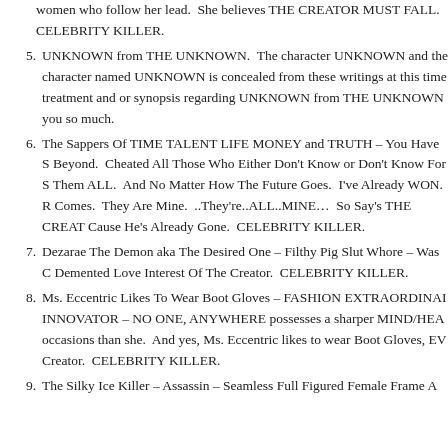women who follow her lead.  She believes THE CREATOR MUST FALL.  CELEBRITY KILLER.
5. UNKNOWN from THE UNKNOWN.  The character UNKNOWN and the character named UNKNOWN is concealed from these writings at this time treatment and or synopsis regarding UNKNOWN from THE UNKNOWN you so much.
6. The Sappers Of TIME TALENT LIFE MONEY and TRUTH – You Have S Beyond.  Cheated All Those Who Either Don't Know or Don't Know For S Them ALL.  And No Matter How The Future Goes.  I've Already WON.  R Comes.  They Are Mine.  ..They're..ALL..MINE…  So Say's THE CREAT Cause He's Already Gone.  CELEBRITY KILLER.
7. Dezarae The Demon aka The Desired One – Filthy Pig Slut Whore – Was C Demented Love Interest Of The Creator.  CELEBRITY KILLER.
8. Ms. Eccentric Likes To Wear Boot Gloves – FASHION EXTRAORDINAI INNOVATOR – NO ONE, ANYWHERE possesses a sharper MIND/HEA occasions than she.  And yes, Ms. Eccentric likes to wear Boot Gloves, EV Creator.  CELEBRITY KILLER.
9. The Silky Ice Killer – Assassin – Seamless Full Figured Female Frame A